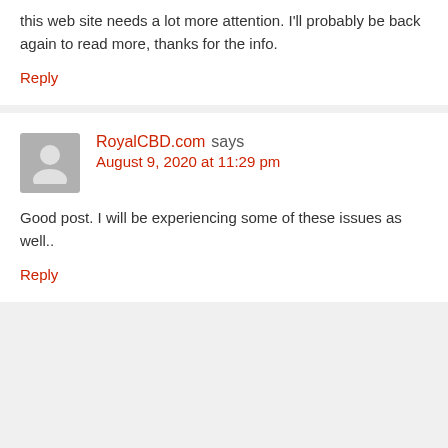this web site needs a lot more attention. I'll probably be back again to read more, thanks for the info.
Reply
RoyalCBD.com says August 9, 2020 at 11:29 pm
Good post. I will be experiencing some of these issues as well..
Reply